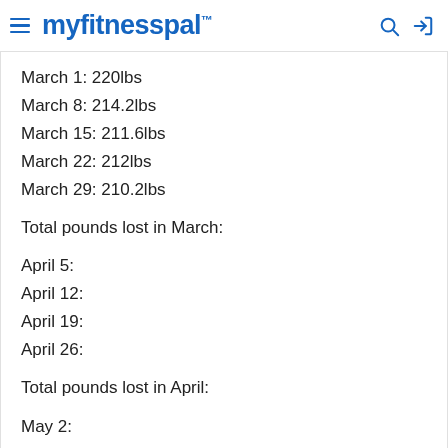myfitnesspal
March 1: 220lbs
March 8: 214.2lbs
March 15: 211.6lbs
March 22: 212lbs
March 29: 210.2lbs
Total pounds lost in March:
April 5:
April 12:
April 19:
April 26:
Total pounds lost in April:
May 2:
May 9: